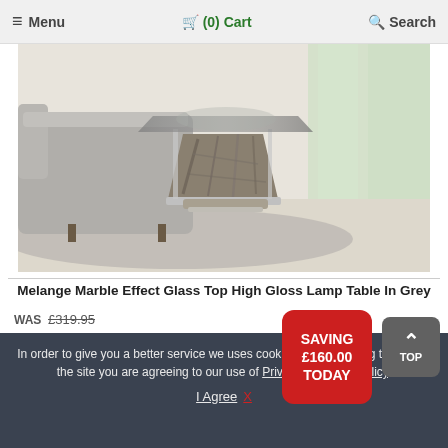≡ Menu   🛒 (0) Cart   🔍 Search
[Figure (photo): Melange Marble Effect Glass Top High Gloss Lamp Table in Grey shown in a living room setting. The table has a dark marble-patterned base with chrome/mirrored accents and a glass top, placed next to a grey sofa on a fluffy grey rug.]
Melange Marble Effect Glass Top High Gloss Lamp Table In Grey
WAS £319.95
£159.95
SAVING £160.00 TODAY
In order to give you a better service we uses cookies. By continuing to browse the site you are agreeing to our use of Privacy & Cookie Policy.
I Agree  X